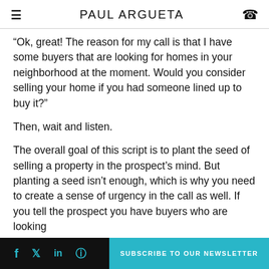PAUL ARGUETA
“Ok, great! The reason for my call is that I have some buyers that are looking for homes in your neighborhood at the moment. Would you consider selling your home if you had someone lined up to buy it?”
Then, wait and listen.
The overall goal of this script is to plant the seed of selling a property in the prospect’s mind. But planting a seed isn’t enough, which is why you need to create a sense of urgency in the call as well. If you tell the prospect you have buyers who are looking
SUBSCRIBE TO OUR NEWSLETTER